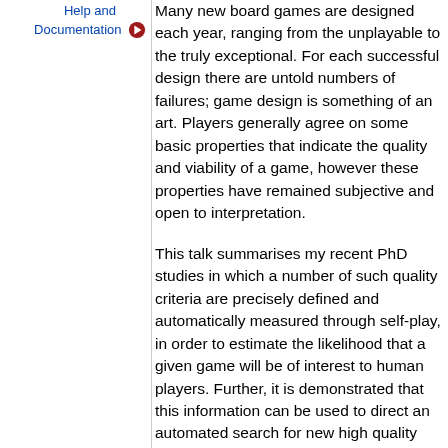Help and Documentation
Many new board games are designed each year, ranging from the unplayable to the truly exceptional. For each successful design there are untold numbers of failures; game design is something of an art. Players generally agree on some basic properties that indicate the quality and viability of a game, however these properties have remained subjective and open to interpretation.
This talk summarises my recent PhD studies in which a number of such quality criteria are precisely defined and automatically measured through self-play, in order to estimate the likelihood that a given game will be of interest to human players. Further, it is demonstrated that this information can be used to direct an automated search for new high quality games using genetic programming techniques.